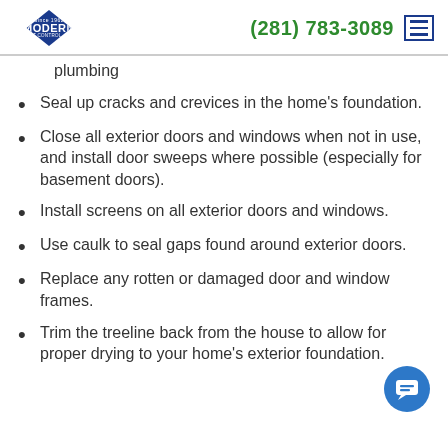Modern Pest Control, Inc. | (281) 783-3089
plumbing
Seal up cracks and crevices in the home's foundation.
Close all exterior doors and windows when not in use, and install door sweeps where possible (especially for basement doors).
Install screens on all exterior doors and windows.
Use caulk to seal gaps found around exterior doors.
Replace any rotten or damaged door and window frames.
Trim the treeline back from the house to allow for proper drying to your home's exterior foundation.